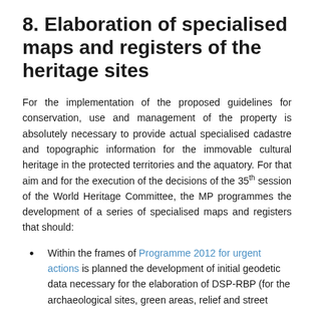8. Elaboration of specialised maps and registers of the heritage sites
For the implementation of the proposed guidelines for conservation, use and management of the property is absolutely necessary to provide actual specialised cadastre and topographic information for the immovable cultural heritage in the protected territories and the aquatory. For that aim and for the execution of the decisions of the 35th session of the World Heritage Committee, the MP programmes the development of a series of specialised maps and registers that should:
Within the frames of Programme 2012 for urgent actions is planned the development of initial geodetic data necessary for the elaboration of DSP-RBP (for the archaeological sites, green areas, relief and street facade).